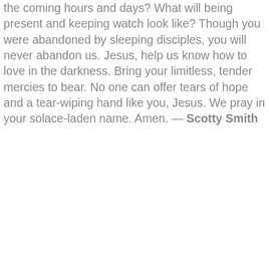the coming hours and days? What will being present and keeping watch look like? Though you were abandoned by sleeping disciples, you will never abandon us. Jesus, help us know how to love in the darkness. Bring your limitless, tender mercies to bear. No one can offer tears of hope and a tear-wiping hand like you, Jesus. We pray in your solace-laden name. Amen. — Scotty Smith